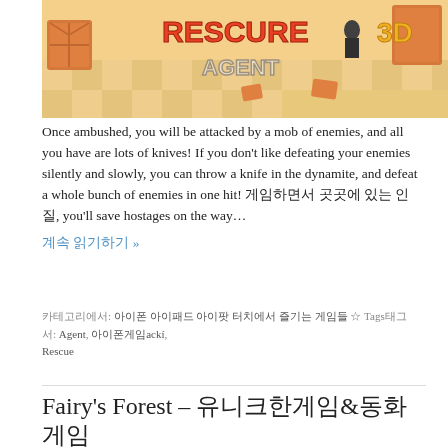[Figure (screenshot): Screenshot of the game 'Rescue Agent 3D' showing a 3D game environment with orange crates, a checkered floor, and the game title in orange and yellow text.]
Once ambushed, you will be attacked by a mob of enemies, and all you have are lots of knives! If you don't like defeating your enemies silently and slowly, you can throw a knife in the dynamite, and defeat a whole bunch of enemies in one hit! 게임하면서 곳곳에 있는 인질, you'll save hostages on the way…
계속 읽기하기 »
카테고리에서: 아이폰 아이패드 아이팟 터치에서 즐기는 게임들 ☆ Tags태그서: Agent, 아이폰게임ackí, Rescue
Fairy's Forest – 유니크한게임&동화게임